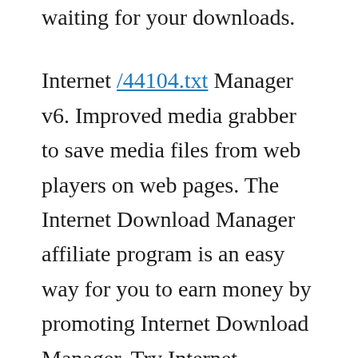waiting for your downloads.
Internet /44104.txt Manager v6. Improved media grabber to save media files from web players on web pages. The Internet Download Manager affiliate program is an easy way for you to earn money by promoting Internet Download Manager. Try Internet Download Manager for free No email or credit card required. Accelerate your downloads by up to 5 times! Internet Download Manager IDM is a tool to increase download speeds by up to 5